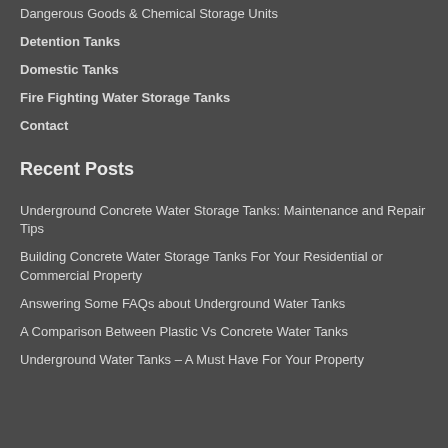Dangerous Goods & Chemical Storage Units
Detention Tanks
Domestic Tanks
Fire Fighting Water Storage Tanks
Contact
Recent Posts
Underground Concrete Water Storage Tanks: Maintenance and Repair Tips
Building Concrete Water Storage Tanks For Your Residential or Commercial Property
Answering Some FAQs about Underground Water Tanks
A Comparison Between Plastic Vs Concrete Water Tanks
Underground Water Tanks – A Must Have For Your Property